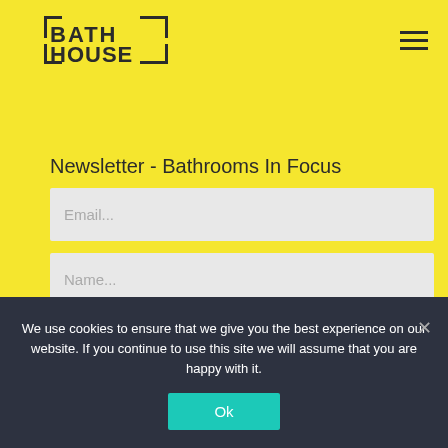[Figure (logo): BathHouse logo — bold text BATH HOUSE with bracket/corner mark design, dark text on yellow background]
Newsletter - Bathrooms In Focus
Email...
Name...
We use cookies to ensure that we give you the best experience on our website. If you continue to use this site we will assume that you are happy with it.
Ok